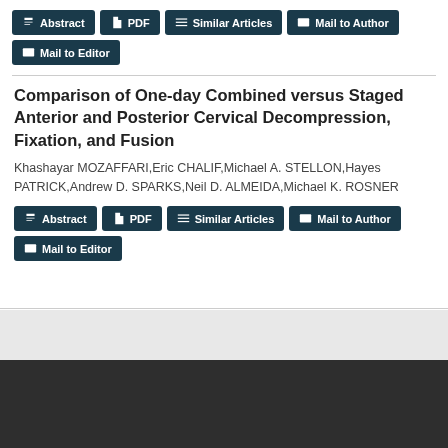[Figure (screenshot): Navigation buttons row 1: Abstract, PDF, Similar Articles, Mail to Author]
[Figure (screenshot): Navigation button row 2: Mail to Editor]
Comparison of One-day Combined versus Staged Anterior and Posterior Cervical Decompression, Fixation, and Fusion
Khashayar MOZAFFARI,Eric CHALIF,Michael A. STELLON,Hayes PATRICK,Andrew D. SPARKS,Neil D. ALMEIDA,Michael K. ROSNER
[Figure (screenshot): Navigation buttons row 1 (repeated): Abstract, PDF, Similar Articles, Mail to Author]
[Figure (screenshot): Navigation button row 2 (repeated): Mail to Editor]